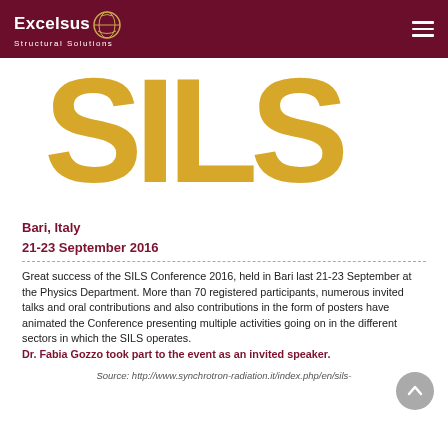Excelsus Structural Solutions
[Figure (logo): Large golden SILS lettering on white background]
Bari, Italy
21-23 September 2016
Great success of the SILS Conference 2016, held in Bari last 21-23 September at the Physics Department. More than 70 registered participants, numerous invited talks and oral contributions and also contributions in the form of posters have animated the Conference presenting multiple activities going on in the different sectors in which the SILS operates. Dr. Fabia Gozzo took part to the event as an invited speaker.
Source: http://www.synchrotron-radiation.it/index.php/en/sils-